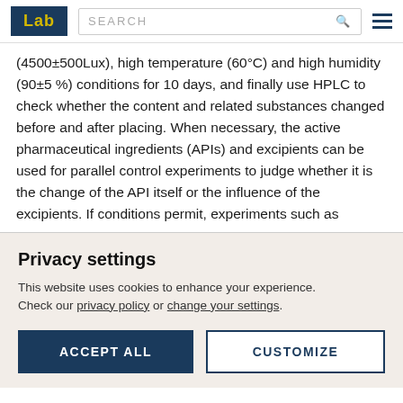Lab | SEARCH
(4500±500Lux), high temperature (60°C) and high humidity (90±5 %) conditions for 10 days, and finally use HPLC to check whether the content and related substances changed before and after placing. When necessary, the active pharmaceutical ingredients (APIs) and excipients can be used for parallel control experiments to judge whether it is the change of the API itself or the influence of the excipients. If conditions permit, experiments such as
Privacy settings
This website uses cookies to enhance your experience. Check our privacy policy or change your settings.